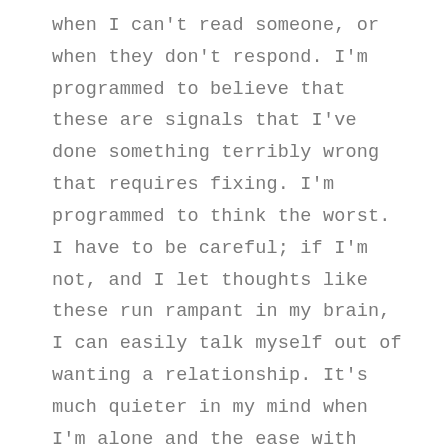when I can't read someone, or when they don't respond. I'm programmed to believe that these are signals that I've done something terribly wrong that requires fixing. I'm programmed to think the worst. I have to be careful; if I'm not, and I let thoughts like these run rampant in my brain, I can easily talk myself out of wanting a relationship. It's much quieter in my mind when I'm alone and the ease with which I can cut someone out of my life is astonishing. I don't know how to rely on people because some of the people I was supposed to rely on most have not been helpful. As a result, my defense mechanism is to not let people in in the first place. I don't initiate things because the duty of just responding to demands put on me has